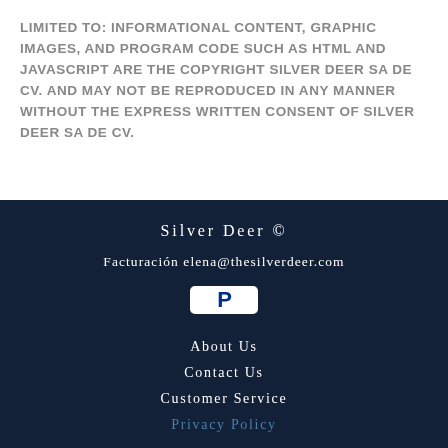LIMITED TO: INFORMATIONAL CONTENT, GRAPHIC IMAGES, AND PROGRAM CODE SUCH AS HTML AND JAVASCRIPT ARE THE COPYRIGHT SILVER DEER SA DE CV. AND MAY NOT BE REPRODUCED IN ANY MANNER WITHOUT THE EXPRESS WRITTEN CONSENT OF SILVER DEER SA DE CV.
Silver Deer ©
Facturación elena@thesilverdeer.com
[Figure (logo): PayPal payment button logo showing blue 'P' on white background]
About Us
Contact Us
Customer Service
Privacy Policy